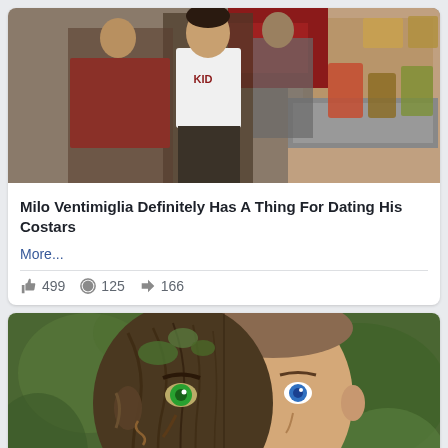[Figure (photo): Photo of a man in a white 'KID' t-shirt and dark pants standing near a food stand with drinks and food items visible in the background]
Milo Ventimiglia Definitely Has A Thing For Dating His Costars
More...
499  125  166
[Figure (photo): Digital art photo of a man's face split in half — left side morphed into a tree bark/nature creature with green eye, right side normal human face with blue eye, against green bokeh background]